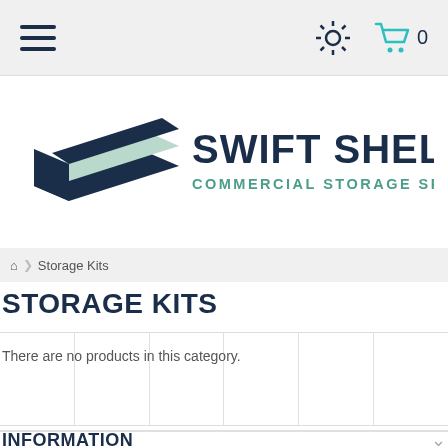Navigation bar with hamburger menu, settings gear icon, cart icon with count 0
[Figure (logo): Swift Shelving logo with stacked blue and light green shelf layers graphic, text 'SWIFT SHELVING' in dark blue bold, subtitle 'COMMERCIAL STORAGE SPECIALISTS' in teal/green]
Storage Kits
STORAGE KITS
There are no products in this category.
INFORMATION